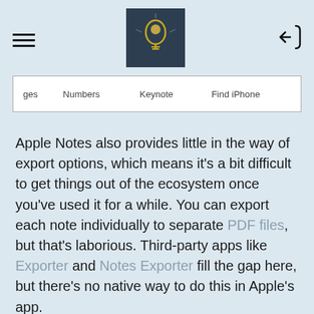[hamburger menu icon] [lightbulb photo] [login icon]
| ges | Numbers | Keynote | Find iPhone |
| --- | --- | --- | --- |
Apple Notes also provides little in the way of export options, which means it's a bit difficult to get things out of the ecosystem once you've used it for a while. You can export each note individually to separate PDF files, but that's laborious. Third-party apps like Exporter and Notes Exporter fill the gap here, but there's no native way to do this in Apple's app.
iCloud is another consideration. If your Notes collection balloons then you'll need to be